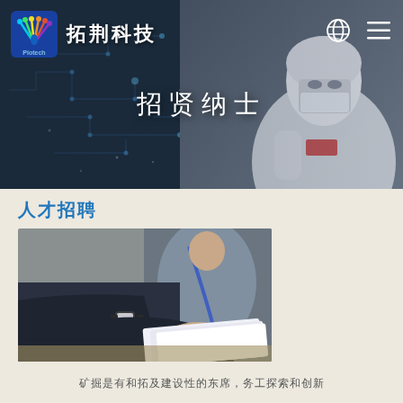[Figure (photo): Hero banner with dark tech/circuit board background on the left and a worker in cleanroom protective gear (mask, hood, white suit) on the right. Company logo '拓荆科技' (Piotech) with peacock icon in top-left. Globe and menu icons in top-right.]
招贤纳士
人才招聘
[Figure (photo): Close-up photo of two people at a desk reviewing documents/blueprints. One person in dark suit jacket with watch, another in grey suit with blue lanyard.]
矿掘是有和拓及建设性的东席，务工探索和创新